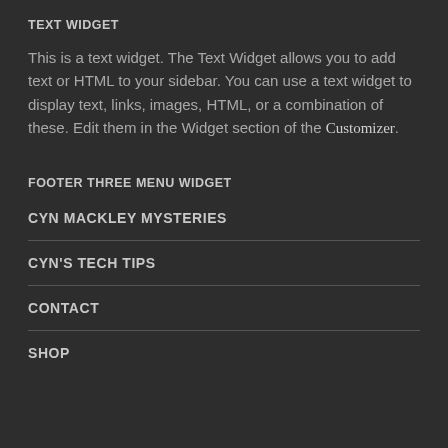TEXT WIDGET
This is a text widget. The Text Widget allows you to add text or HTML to your sidebar. You can use a text widget to display text, links, images, HTML, or a combination of these. Edit them in the Widget section of the Customizer.
FOOTER THREE MENU WIDGET
CYN MACKLEY MYSTERIES
CYN'S TECH TIPS
CONTACT
SHOP